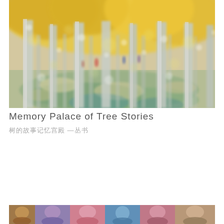[Figure (photo): An impressionistic, blurred photograph of a tree-lined avenue in autumn. Silver-white tree trunks fill the frame, with golden-yellow foliage overhead and dappled light on the ground. Figures of people visible in the distance between the trees.]
Memory Palace of Tree Stories
树的故事记忆宫殿 —丛书
[Figure (photo): A horizontal strip of multiple small portrait photos partially visible at the bottom of the page, showing various faces in different colors and styles.]